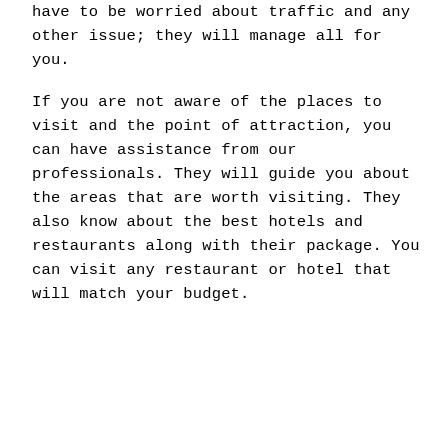have to be worried about traffic and any other issue; they will manage all for you.
If you are not aware of the places to visit and the point of attraction, you can have assistance from our professionals. They will guide you about the areas that are worth visiting. They also know about the best hotels and restaurants along with their package. You can visit any restaurant or hotel that will match your budget.